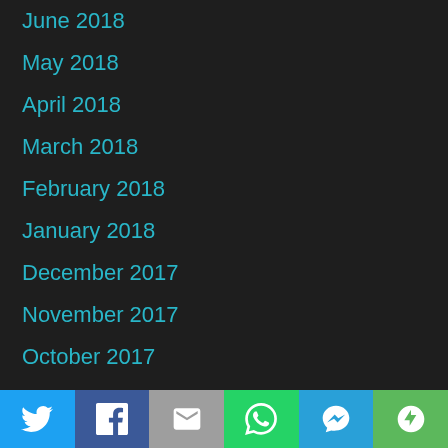June 2018
May 2018
April 2018
March 2018
February 2018
January 2018
December 2017
November 2017
October 2017
September 2017
August 2017
July 2017
June 2017
[Figure (infographic): Social sharing bar with icons for Twitter, Facebook, Email, WhatsApp, SMS, and More]